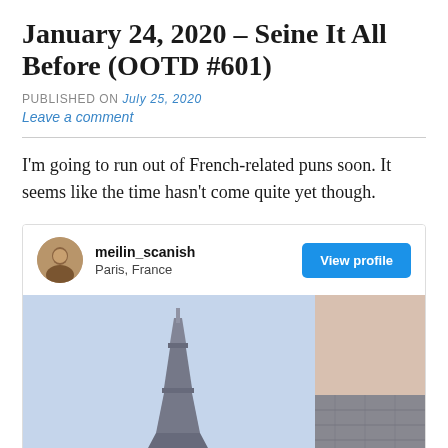January 24, 2020 – Seine It All Before (OOTD #601)
PUBLISHED ON July 25, 2020
Leave a comment
I'm going to run out of French-related puns soon. It seems like the time hasn't come quite yet though.
[Figure (screenshot): Embedded Instagram-style profile card for meilin_scanish, located in Paris, France, with a View profile button and an image of the Eiffel Tower against a light blue sky, with a second partial image to the right.]